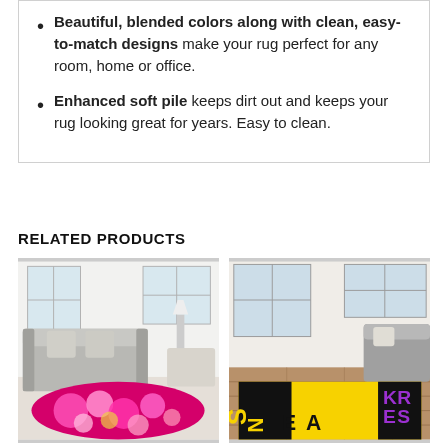Beautiful, blended colors along with clean, easy-to-match designs make your rug perfect for any room, home or office.
Enhanced soft pile keeps dirt out and keeps your rug looking great for years. Easy to clean.
RELATED PRODUCTS
[Figure (photo): Living room scene with a pink floral patterned rug on the floor, featuring a grey sofa and bright windows]
[Figure (photo): Living room scene with a black and yellow rug with text SNEAKERS in purple letters, hardwood floor and grey sofa]